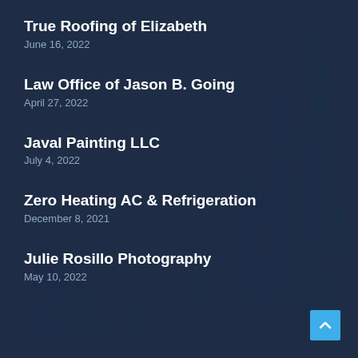True Roofing of Elizabeth
June 16, 2022
Law Office of Jason B. Going
April 27, 2022
Javal Painting LLC
July 4, 2022
Zero Heating AC & Refrigeration
December 8, 2021
Julie Rosillo Photography
May 10, 2022